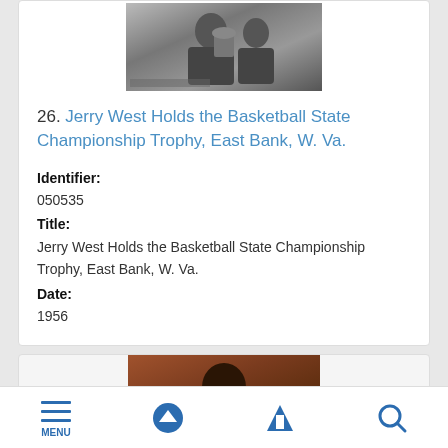[Figure (photo): Black and white photograph of Jerry West holding a basketball state championship trophy, East Bank, W. Va.]
26. Jerry West Holds the Basketball State Championship Trophy, East Bank, W. Va.
Identifier:
050535
Title:
Jerry West Holds the Basketball State Championship Trophy, East Bank, W. Va.
Date:
1956
[Figure (photo): Color photograph partially visible, showing a person from the shoulders up with a warm brown/reddish background.]
MENU | (up arrow) | (filter) | (search)